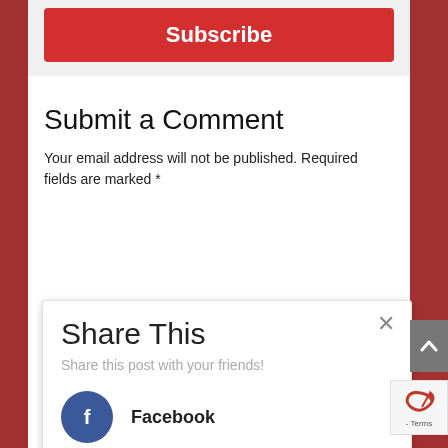Subscribe
Submit a Comment
Your email address will not be published. Required fields are marked *
Share This
Share this post with your friends!
Facebook
Twitter